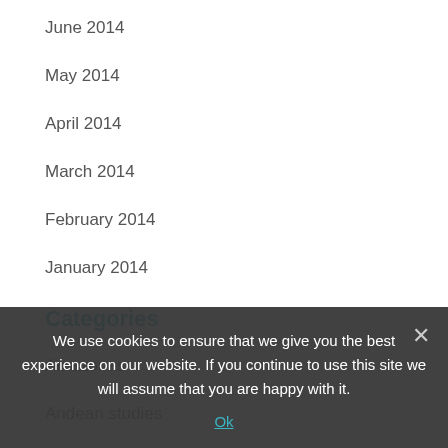June 2014
May 2014
April 2014
March 2014
February 2014
January 2014
Categories
Amazonas
Andean studies
Argentina
Bolivia
Brazil
Caribbean
Central America
We use cookies to ensure that we give you the best experience on our website. If you continue to use this site we will assume that you are happy with it.
Ok